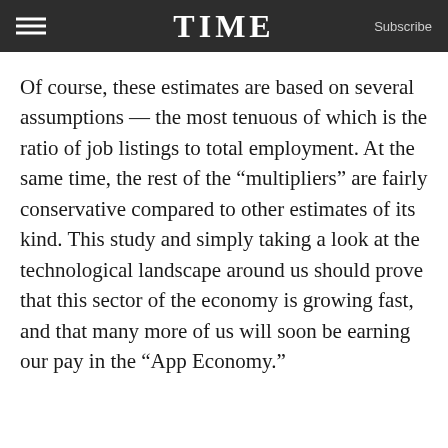TIME  Subscribe
Of course, these estimates are based on several assumptions — the most tenuous of which is the ratio of job listings to total employment. At the same time, the rest of the “multipliers” are fairly conservative compared to other estimates of its kind. This study and simply taking a look at the technological landscape around us should prove that this sector of the economy is growing fast, and that many more of us will soon be earning our pay in the “App Economy.”